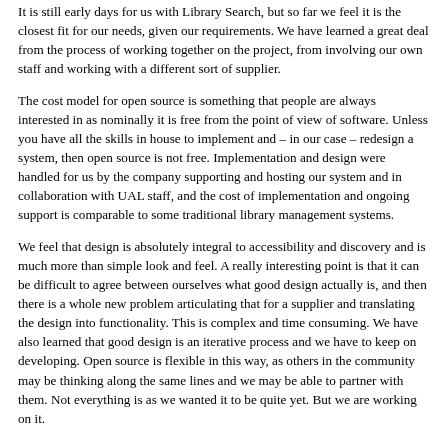It is still early days for us with Library Search, but so far we feel it is the closest fit for our needs, given our requirements. We have learned a great deal from the process of working together on the project, from involving our own staff and working with a different sort of supplier.
The cost model for open source is something that people are always interested in as nominally it is free from the point of view of software. Unless you have all the skills in house to implement and – in our case – redesign a system, then open source is not free. Implementation and design were handled for us by the company supporting and hosting our system and in collaboration with UAL staff, and the cost of implementation and ongoing support is comparable to some traditional library management systems.
We feel that design is absolutely integral to accessibility and discovery and is much more than simple look and feel. A really interesting point is that it can be difficult to agree between ourselves what good design actually is, and then there is a whole new problem articulating that for a supplier and translating the design into functionality. This is complex and time consuming. We have also learned that good design is an iterative process and we have to keep on developing. Open source is flexible in this way, as others in the community may be thinking along the same lines and we may be able to partner with them. Not everything is as we wanted it to be quite yet. But we are working on it.